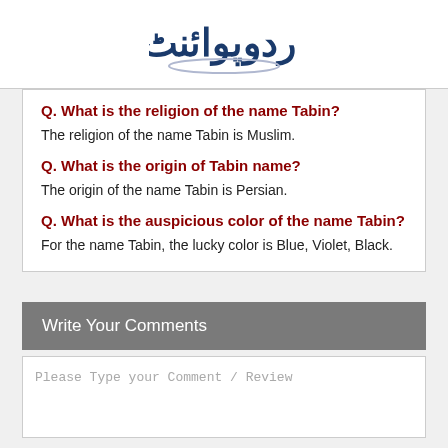اردوپوائنٹ (Urdu Point logo)
Q. What is the religion of the name Tabin?
The religion of the name Tabin is Muslim.
Q. What is the origin of Tabin name?
The origin of the name Tabin is Persian.
Q. What is the auspicious color of the name Tabin?
For the name Tabin, the lucky color is Blue, Violet, Black.
Write Your Comments
Please Type your Comment / Review